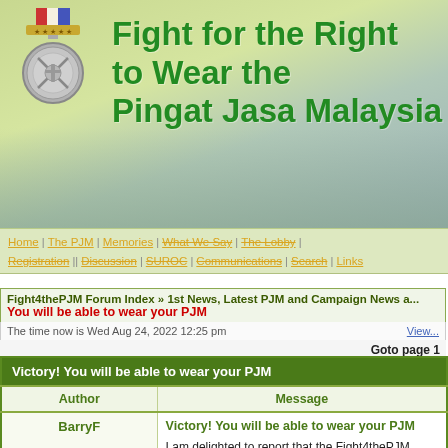[Figure (screenshot): Website header banner for 'Fight for the Right to Wear the Pingat Jasa Malaysia' with medal logo on left and green bold title text on right, mountain landscape background]
Home | The PJM | Memories | What We Say | The Lobby | Registration | Discussion | SUROC | Communications | Search | Links | & Homepage | 3 Login
Fight4thePJM Forum Index » 1st News, Latest PJM and Campaign News and You will be able to wear your PJM
The time now is Wed Aug 24, 2022 12:25 pm
Goto page 1
| Author | Message |
| --- | --- |
| BarryF
Joined: 11 Feb 2006
Posts: 2721
Location: Berkshire, United Kingdom | Victory! You will be able to wear your PJM
I am delighted to report that the Fight4thePJM Campaign Has Won Its Case!
Today, in the House of Lords, the British Government Committee will effectively be instructed to advise that they have Unrestricted Permission for wear on all occasions from Remembrance Day, 11th November 2011 |